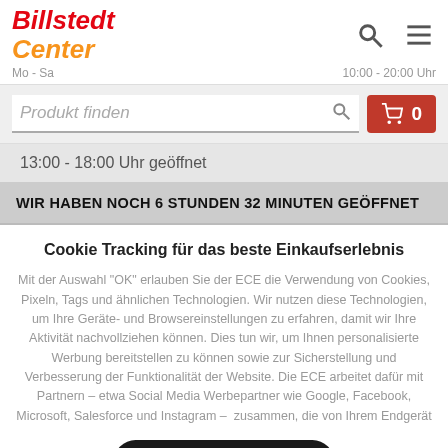[Figure (logo): Billstedt Center logo in red and orange italic text]
Mo - Sa    10:00 - 20:00 Uhr
Produkt finden
0
13:00 - 18:00 Uhr geöffnet
WIR HABEN NOCH 6 STUNDEN 32 MINUTEN GEÖFFNET
Cookie Tracking für das beste Einkaufserlebnis
Mit der Auswahl "OK" erlauben Sie der ECE die Verwendung von Cookies, Pixeln, Tags und ähnlichen Technologien. Wir nutzen diese Technologien, um Ihre Geräte- und Browsereinstellungen zu erfahren, damit wir Ihre Aktivität nachvollziehen können. Dies tun wir, um Ihnen personalisierte Werbung bereitstellen zu können sowie zur Sicherstellung und Verbesserung der Funktionalität der Website. Die ECE arbeitet dafür mit Partnern – etwa Social Media Werbepartner wie Google, Facebook, Microsoft, Salesforce und Instagram –  zusammen, die von Ihrem Endgerät
OK